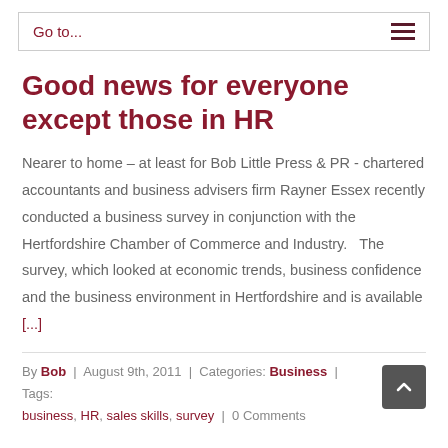Go to...
Good news for everyone except those in HR
Nearer to home – at least for Bob Little Press & PR - chartered accountants and business advisers firm Rayner Essex recently conducted a business survey in conjunction with the Hertfordshire Chamber of Commerce and Industry.   The survey, which looked at economic trends, business confidence and the business environment in Hertfordshire and is available [...]
By Bob | August 9th, 2011 | Categories: Business | Tags: business, HR, sales skills, survey | 0 Comments